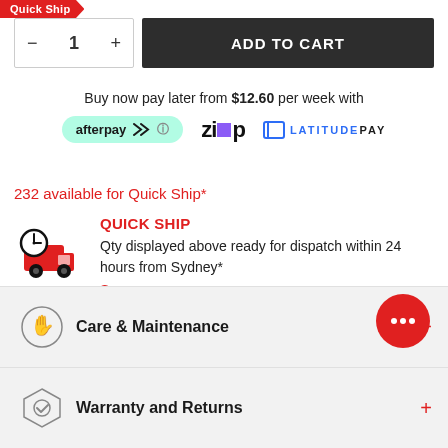Quick Ship
- 1 + ADD TO CART
Buy now pay later from $12.60 per week with
[Figure (logo): Afterpay, Zip, and LatitudePay payment logos]
232 available for Quick Ship*
QUICK SHIP
Qty displayed above ready for dispatch within 24 hours from Sydney*
See more
Care & Maintenance +
Warranty and Returns +